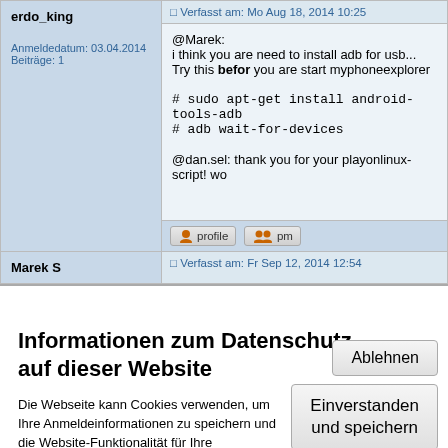erdo_king
Verfasst am: Mo Aug 18, 2014 10:25
Anmeldedatum: 03.04.2014
Beiträge: 1
@Marek:
i think you are need to install adb for usb...
Try this befor you are start myphoneexplorer

# sudo apt-get install android-tools-adb
# adb wait-for-devices

@dan.sel: thank you for your playonlinux-script! wo
Marek S
Verfasst am: Fr Sep 12, 2014 12:54
Informationen zum Datenschutz
auf dieser Website
Die Webseite kann Cookies verwenden, um Ihre Anmeldeinformationen zu speichern und die Website-Funktionalität für Ihre Verwendung zu optimieren. Weitere Informationen sind auf folgenden Seiten verfügbar Datenschutz und Cookies
Ablehnen
Einverstanden und speichern